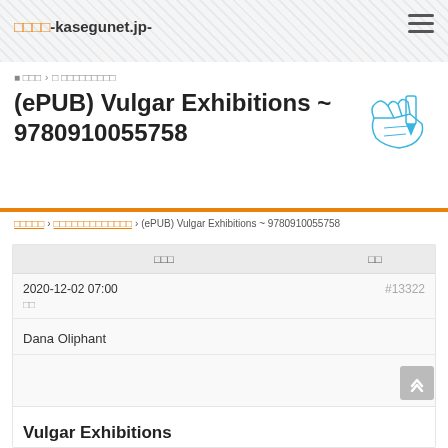□□□□-kasegunet.jp-
■ □□□ › □ □□□□□□□□□
(ePUB) Vulgar Exhibitions ~ 9780910055758
[Figure (illustration): Blue pen/hand illustration icon]
□□□□□ › □□□□□□□□□□□□□ › (ePUB) Vulgar Exhibitions ~ 9780910055758
| □□□ | □□ |
| --- | --- |
| 2020-12-02 07:00
□□ | #13322 |
Dana Oliphant
Vulgar Exhibitions